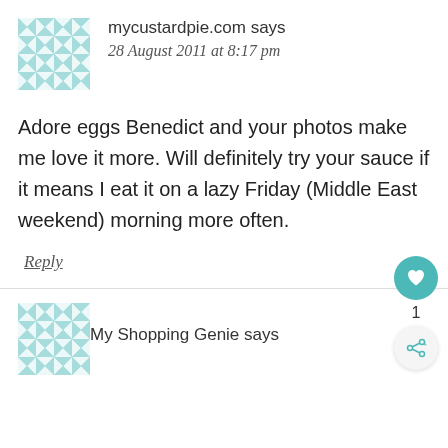[Figure (illustration): Teal and white geometric quilt-pattern avatar icon for mycustardpie.com]
mycustardpie.com says
28 August 2011 at 8:17 pm
Adore eggs Benedict and your photos make me love it more. Will definitely try your sauce if it means I eat it on a lazy Friday (Middle East weekend) morning more often.
Reply
[Figure (illustration): Teal and white geometric quilt-pattern avatar icon for My Shopping Genie]
My Shopping Genie says